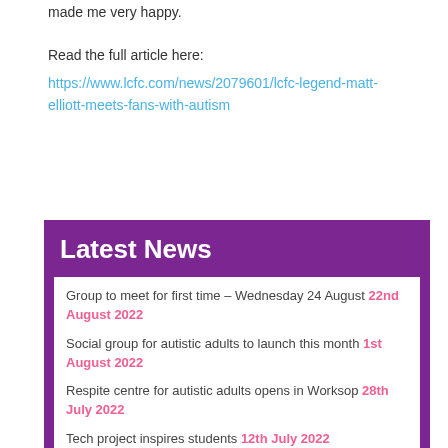made me very happy.
Read the full article here:
https://www.lcfc.com/news/2079601/lcfc-legend-matt-elliott-meets-fans-with-autism
Latest News
Group to meet for first time – Wednesday 24 August 22nd August 2022
Social group for autistic adults to launch this month 1st August 2022
Respite centre for autistic adults opens in Worksop 28th July 2022
Tech project inspires students 12th July 2022